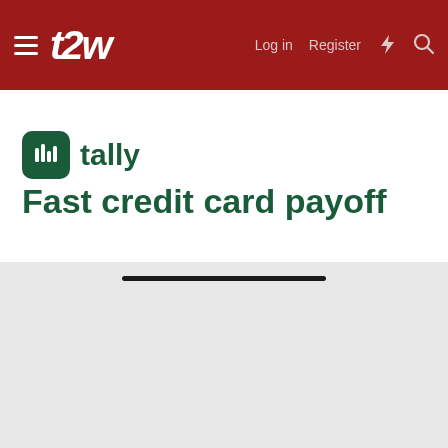t2w — Log in   Register
[Figure (screenshot): Tally advertisement banner: Tally logo (dark green rounded rectangle icon with bar chart lines) and text 'tally' followed by tagline 'Fast credit card payoff' in dark green on white background]
—